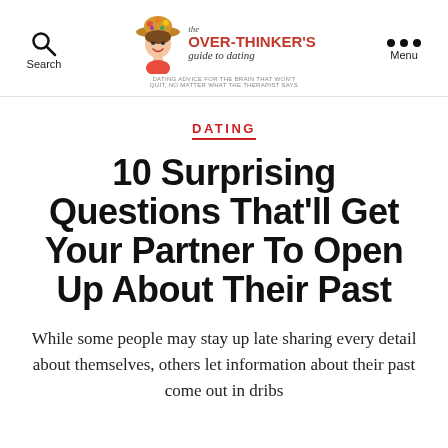Search | The Over-Thinker's Guide to Dating | Menu
DATING
10 Surprising Questions That'll Get Your Partner To Open Up About Their Past
While some people may stay up late sharing every detail about themselves, others let information about their past come out in dribs